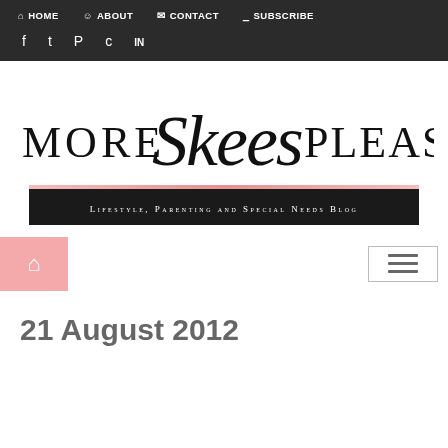HOME  ABOUT  CONTACT  SUBSCRIBE
[Figure (logo): More Skees Please blog logo with script and serif typography, pink underline, and black subtitle bar reading 'Lifestyle, Parenting and Special Needs Blog']
21 August 2012